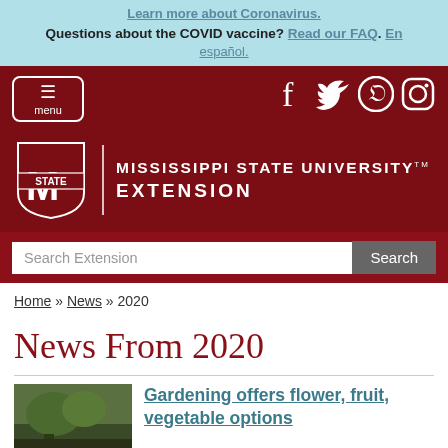Learn more about Coronavirus. Questions about the COVID vaccine? Read our FAQ. En español.
[Figure (screenshot): Mississippi State University Extension website header with menu button, social media icons (Facebook, Twitter, Pinterest, Instagram), MSU logo with shield and wordmark, search bar]
Home » News » 2020
News From 2020
Gardening offers flower, fruit, vegetable options